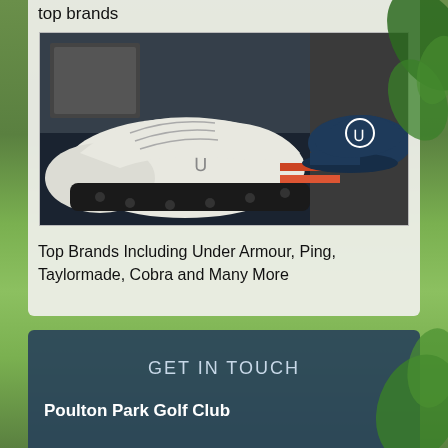top brands
[Figure (photo): Golf shop display showing a white Under Armour golf shoe in the foreground and a dark navy Under Armour cap in the background on a retail display]
Top Brands Including Under Armour, Ping, Taylormade, Cobra and Many More
GET IN TOUCH
Poulton Park Golf Club